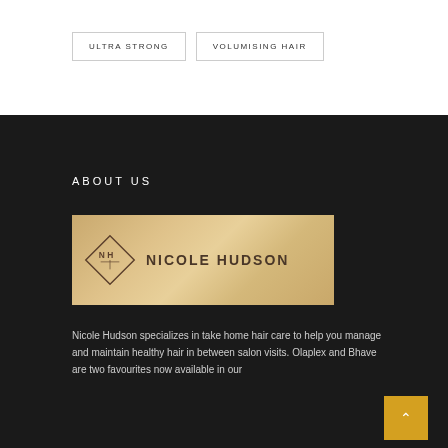ULTRA STRONG
VOLUMISING HAIR
ABOUT US
[Figure (logo): Nicole Hudson logo on wood-grain background — diamond shape with NH monogram and 'NICOLE HUDSON' text]
Nicole Hudson specializes in take home hair care to help you manage and maintain healthy hair in between salon visits. Olaplex and Bhave are two favourites now available in our